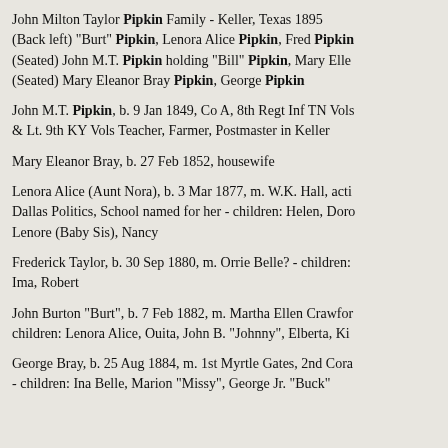John Milton Taylor Pipkin Family - Keller, Texas 1895 (Back left) "Burt" Pipkin, Lenora Alice Pipkin, Fred Pipkin (Seated) John M.T. Pipkin holding "Bill" Pipkin, Mary Elle (Seated) Mary Eleanor Bray Pipkin, George Pipkin
John M.T. Pipkin, b. 9 Jan 1849, Co A, 8th Regt Inf TN Vols & Lt. 9th KY Vols Teacher, Farmer, Postmaster in Keller
Mary Eleanor Bray, b. 27 Feb 1852, housewife
Lenora Alice (Aunt Nora), b. 3 Mar 1877, m. W.K. Hall, acti Dallas Politics, School named for her - children: Helen, Doro Lenore (Baby Sis), Nancy
Frederick Taylor, b. 30 Sep 1880, m. Orrie Belle? - children: Ima, Robert
John Burton "Burt", b. 7 Feb 1882, m. Martha Ellen Crawfor children: Lenora Alice, Ouita, John B. "Johnny", Elberta, Ki
George Bray, b. 25 Aug 1884, m. 1st Myrtle Gates, 2nd Cora - children: Ina Belle, Marion "Missy", George Jr. "Buck"